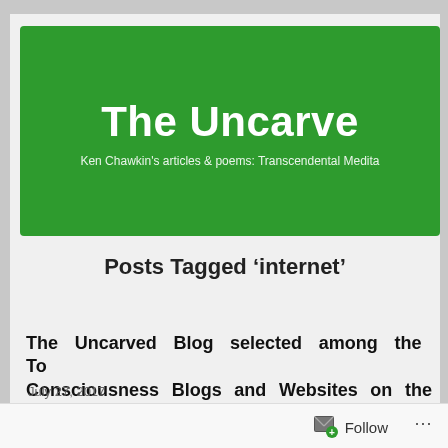[Figure (screenshot): Green banner header for 'The Uncarved' blog with subtitle about Ken Chawkin's articles and poems on Transcendental Meditation]
The Uncarved
Ken Chawkin's articles & poems: Transcendental Medit...
Posts Tagged ‘internet’
The Uncarved Blog selected among the To... Consciousness Blogs and Websites on the web
July 27, 2017